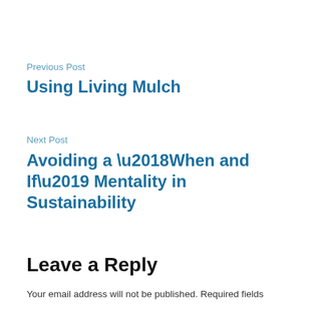Previous Post
Using Living Mulch
Next Post
Avoiding a ‘When and If’ Mentality in Sustainability
Leave a Reply
Your email address will not be published. Required fields